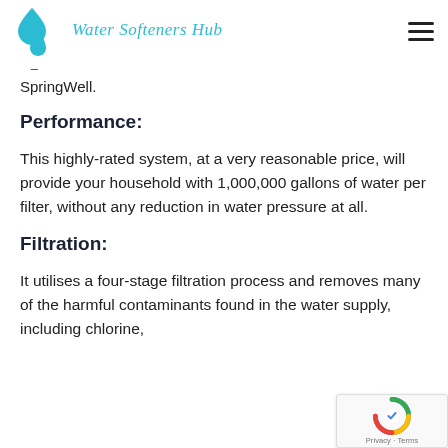Water Softeners Hub
SpringWell.
Performance:
This highly-rated system, at a very reasonable price, will provide your household with 1,000,000 gallons of water per filter, without any reduction in water pressure at all.
Filtration:
It utilises a four-stage filtration process and removes many of the harmful contaminants found in the water supply, including chlorine,